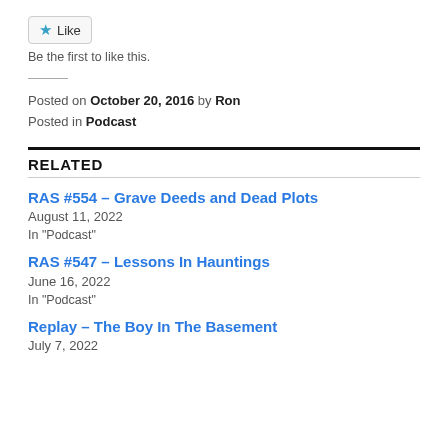[Figure (other): Like button with star icon]
Be the first to like this.
Posted on October 20, 2016 by Ron
Posted in Podcast
RELATED
RAS #554 – Grave Deeds and Dead Plots
August 11, 2022
In "Podcast"
RAS #547 – Lessons In Hauntings
June 16, 2022
In "Podcast"
Replay – The Boy In The Basement
July 7, 2022